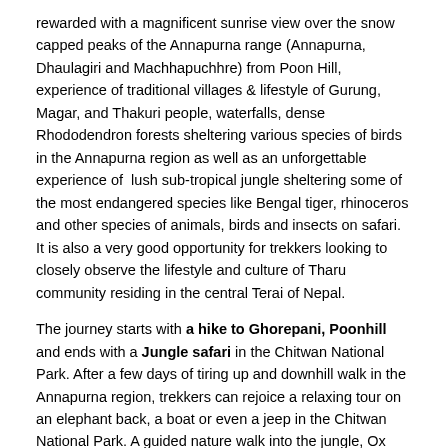rewarded with a magnificent sunrise view over the snow capped peaks of the Annapurna range (Annapurna, Dhaulagiri and Machhapuchhre) from Poon Hill, experience of traditional villages & lifestyle of Gurung, Magar, and Thakuri people, waterfalls, dense Rhododendron forests sheltering various species of birds in the Annapurna region as well as an unforgettable experience of  lush sub-tropical jungle sheltering some of the most endangered species like Bengal tiger, rhinoceros and other species of animals, birds and insects on safari. It is also a very good opportunity for trekkers looking to closely observe the lifestyle and culture of Tharu community residing in the central Terai of Nepal.
The journey starts with a hike to Ghorepani, Poonhill and ends with a Jungle safari in the Chitwan National Park. After a few days of tiring up and downhill walk in the Annapurna region, trekkers can rejoice a relaxing tour on an elephant back, a boat or even a jeep in the Chitwan National Park. A guided nature walk into the jungle, Ox ride to explore the Tharu village and museum, a visit to an elephant breeding center and elephant bathing are some additional attractions of this trip. Moreover, some of the major attractions of Kathmandu and Pokhara are also included in the itinerary.